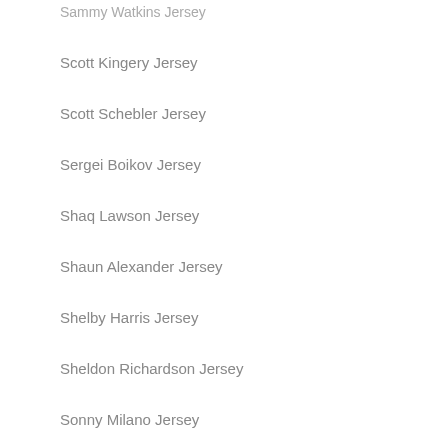Sammy Watkins Jersey
Scott Kingery Jersey
Scott Schebler Jersey
Sergei Boikov Jersey
Shaq Lawson Jersey
Shaun Alexander Jersey
Shelby Harris Jersey
Sheldon Richardson Jersey
Sonny Milano Jersey
Stacy McGee Jersey
Stefan Noesen Jersey
Stephen Curry Jersey